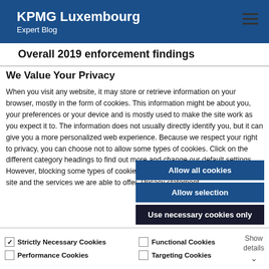KPMG Luxembourg
Expert Blog
Overall 2019 enforcement findings
We Value Your Privacy
When you visit any website, it may store or retrieve information on your browser, mostly in the form of cookies. This information might be about you, your preferences or your device and is mostly used to make the site work as you expect it to. The information does not usually directly identify you, but it can give you a more personalized web experience. Because we respect your right to privacy, you can choose not to allow some types of cookies. Click on the different category headings to find out more and change our default settings. However, blocking some types of cookies may impact your experience of the site and the services we are able to offer. Pricacy statement
Allow all cookies
Allow selection
Use necessary cookies only
Strictly Necessary Cookies  Functional Cookies  Performance Cookies  Targeting Cookies  Show details